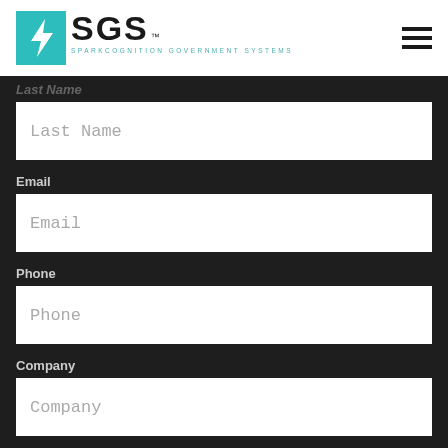SGS - SparkCognition Government Systems
Last Name
Last Name (input field placeholder)
Email
Email (input field placeholder)
Phone
Phone (input field placeholder)
Company
Company (input field placeholder)
Country